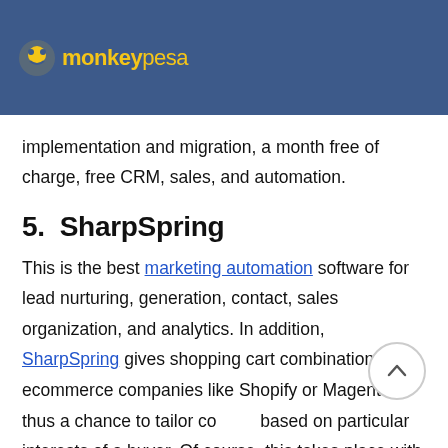monkeypesa  Login >  ☰
implementation and migration, a month free of charge, free CRM, sales, and automation.
5.  SharpSpring
This is the best marketing automation software for lead nurturing, generation, contact, sales organization, and analytics. In addition, SharpSpring gives shopping cart combinations for ecommerce companies like Shopify or Magento, thus a chance to tailor content based on particular interests of a buyer. Of course, this takes place with the help of dynamic emails and landing pages.